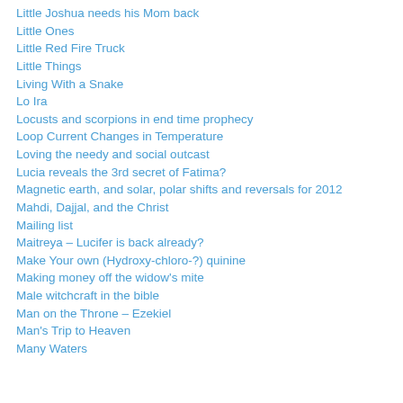Little Joshua needs his Mom back
Little Ones
Little Red Fire Truck
Little Things
Living With a Snake
Lo Ira
Locusts and scorpions in end time prophecy
Loop Current Changes in Temperature
Loving the needy and social outcast
Lucia reveals the 3rd secret of Fatima?
Magnetic earth, and solar, polar shifts and reversals for 2012
Mahdi, Dajjal, and the Christ
Mailing list
Maitreya – Lucifer is back already?
Make Your own (Hydroxy-chloro-?) quinine
Making money off the widow's mite
Male witchcraft in the bible
Man on the Throne – Ezekiel
Man's Trip to Heaven
Many Waters